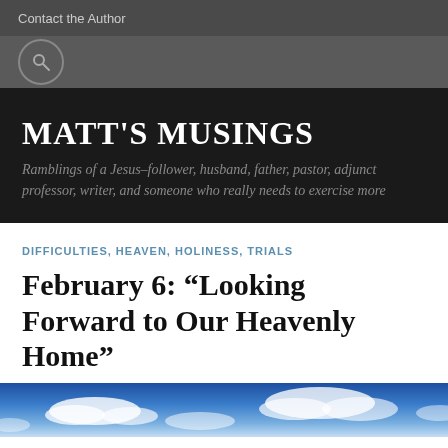Contact the Author
MATT'S MUSINGS
Ramblings of a Jesus-follower, husband, father, pastor, adjunct professor, writer, and someone who really needs to exercise more
DIFFICULTIES, HEAVEN, HOLINESS, TRIALS
February 6: “Looking Forward to Our Heavenly Home”
[Figure (photo): Blue sky with white clouds, viewed from below]